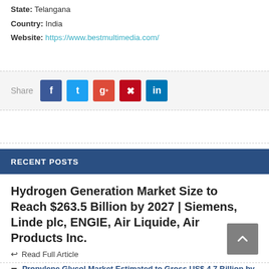State: Telangana
Country: India
Website: https://www.bestmultimedia.com/
Share
RECENT POSTS
Hydrogen Generation Market Size to Reach $263.5 Billion by 2027 | Siemens, Linde plc, ENGIE, Air Liquide, Air Products Inc.
Read Full Article
Propylene Glycol Market Estimated to Gross US$ 4.7 Billion by 2024